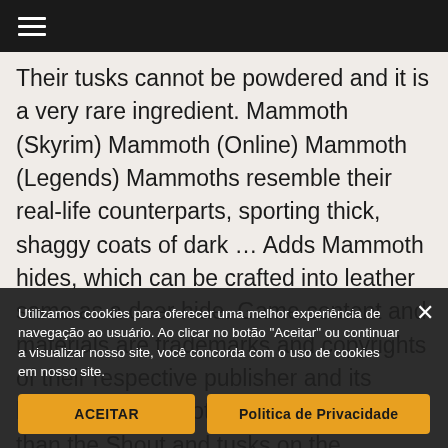☰
Their tusks cannot be powdered and it is a very rare ingredient. Mammoth (Skyrim) Mammoth (Online) Mammoth (Legends) Mammoths resemble their real-life counterparts, sporting thick, shaggy coats of dark … Adds Mammoth hides, which can be crafted into leather same as a deer hide. Game content and materials are trademarks and copyrights of their respective publisher and its licensors. The "loot" versions of ma... than the Shout and tusks on the Mammoth itself. It can be used to make potions at … 000669a4 Restore 5 ... be found standing nearby, who is passive to the
Utilizamos cookies para oferecer uma melhor experiência de navegação ao usuário. Ao clicar no botão "Aceitar" ou continuar a visualizar nosso site, você concorda com o uso de cookies em nosso site.
ACEITAR
Politica de Privacidade